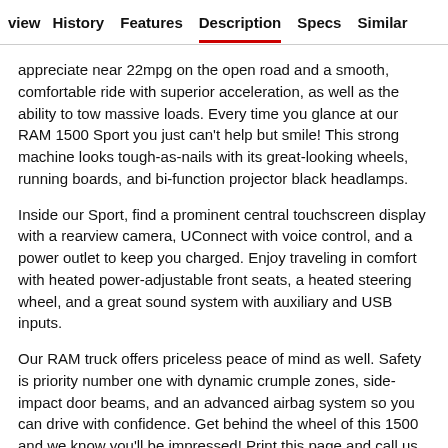view   History   Features   Description   Specs   Similar
appreciate near 22mpg on the open road and a smooth, comfortable ride with superior acceleration, as well as the ability to tow massive loads. Every time you glance at our RAM 1500 Sport you just can't help but smile! This strong machine looks tough-as-nails with its great-looking wheels, running boards, and bi-function projector black headlamps.
Inside our Sport, find a prominent central touchscreen display with a rearview camera, UConnect with voice control, and a power outlet to keep you charged. Enjoy traveling in comfort with heated power-adjustable front seats, a heated steering wheel, and a great sound system with auxiliary and USB inputs.
Our RAM truck offers priceless peace of mind as well. Safety is priority number one with dynamic crumple zones, side-impact door beams, and an advanced airbag system so you can drive with confidence. Get behind the wheel of this 1500 and we know you'll be impressed! Print this page and call us Now... We Know You Will Enjoy Your Test Drive Towards Ownership!